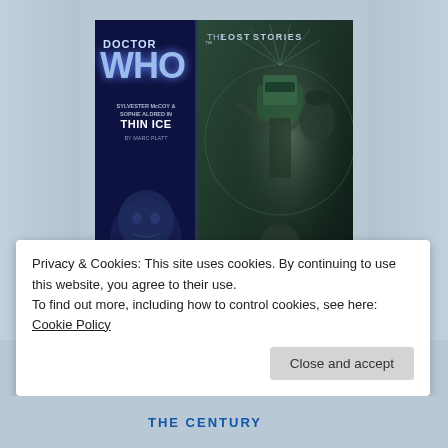[Figure (illustration): Doctor Who: The Lost Stories book cover for 'Thin Ice' by Marc Platt, featuring Sylvester McCoy & Sophie Aldred, with Beth Chalmers and John Albasiny. Shows a split dark blue/teal cover with character portraits including the Doctor and companions, plus a helmeted figure held aloft.]
Privacy & Cookies: This site uses cookies. By continuing to use this website, you agree to their use.
To find out more, including how to control cookies, see here: Cookie Policy
Close and accept
THE CENTURY